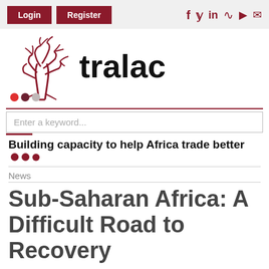Login | Register | f y in RSS YouTube Email
[Figure (logo): tralac logo with stylized baobab tree outline in dark red/maroon and the word 'tralac' in large black bold text]
Enter a keyword...
Building capacity to help Africa trade better
News
Sub-Saharan Africa: A Difficult Road to Recovery